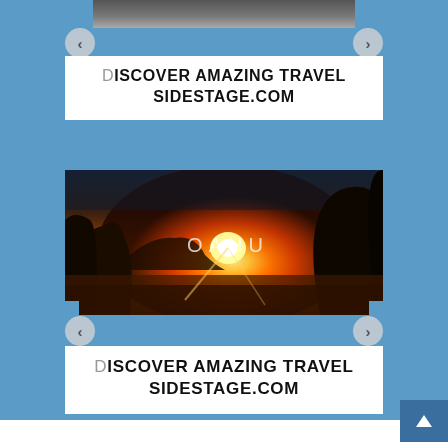[Figure (screenshot): Web page screenshot showing two travel advertisement banners for SIDESTAGE.COM on a steel blue background. Top section shows a partial dark image strip with navigation arrows, followed by white card with text 'DISCOVER AMAZING TRAVEL / SIDESTAGE.COM'. Middle section shows an Oahu sunset photo with orange/red sky, rocky cliffs, ocean, and 'OAHU' text overlay. Below the photo are navigation arrows and another white card with text 'DISCOVER AMAZING TRAVEL / SIDESTAGE.COM'. A dark blue button appears bottom right.]